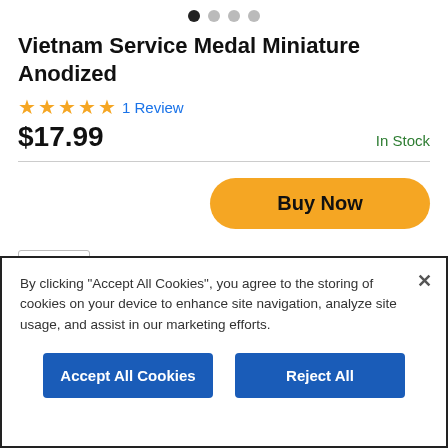[Figure (other): Pagination indicator dots — 4 dots, first one filled/dark, rest gray]
Vietnam Service Medal Miniature Anodized
★★★★★ 1 Review
$17.99  In Stock
[Figure (other): Buy Now button — orange pill-shaped button with bold black text]
By clicking "Accept All Cookies", you agree to the storing of cookies on your device to enhance site navigation, analyze site usage, and assist in our marketing efforts.
Accept All Cookies    Reject All